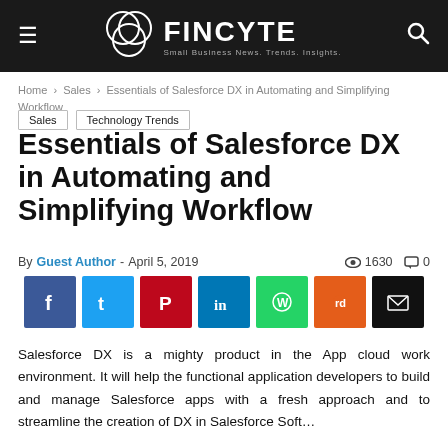FINCYTE — Small Business News. Trends. Insights.
Home › Sales › Essentials of Salesforce DX in Automating and Simplifying Workflow
Sales  Technology Trends
Essentials of Salesforce DX in Automating and Simplifying Workflow
By Guest Author - April 5, 2019  1630  0
[Figure (infographic): Social share buttons: Facebook, Twitter, Pinterest, LinkedIn, WhatsApp, Reddit, Email]
Salesforce DX is a mighty product in the App cloud work environment. It will help the functional application developers to build and manage Salesforce apps with a fresh approach and...